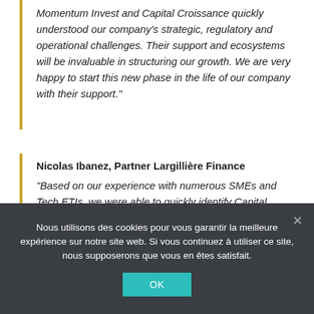Momentum Invest and Capital Croissance quickly understood our company's strategic, regulatory and operational challenges. Their support and ecosystems will be invaluable in structuring our growth. We are very happy to start this new phase in the life of our company with their support."
Nicolas Ibanez, Partner Largillière Finance
"Based on our experience with numerous SMEs and Tech ETIs, we were able to quickly identify Capital Croissance and Momentum Invest as players that met the challenges and
Nous utilisons des cookies pour vous garantir la meilleure expérience sur notre site web. Si vous continuez à utiliser ce site, nous supposerons que vous en êtes satisfait.
OK